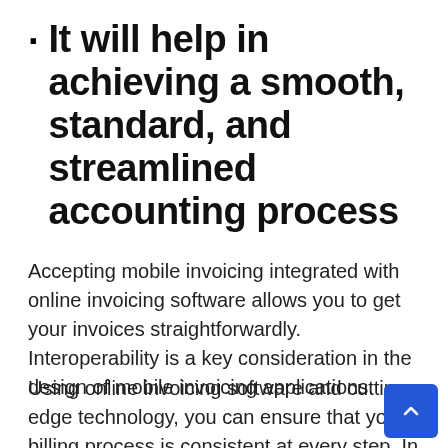It will help in achieving a smooth, standard, and streamlined accounting process
Accepting mobile invoicing integrated with online invoicing software allows you to get your invoices straightforwardly. Interoperability is a key consideration in the design of mobile invoicing applications.
Using online invoicing software and cutting-edge technology, you can ensure that your billing process is consistent at every step. In